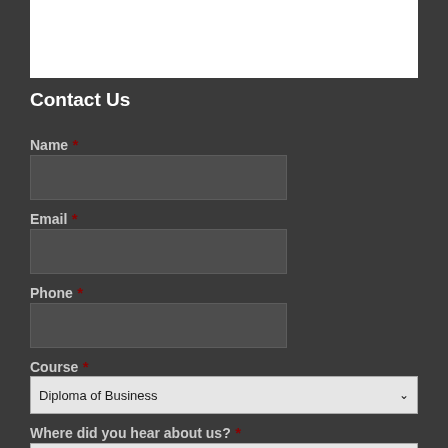[Figure (other): White rectangle placeholder image at the top of the contact form]
Contact Us
Name *
Email *
Phone *
Course *
Diploma of Business (dropdown selected option)
Where did you hear about us? *
[--Please select--] (dropdown)